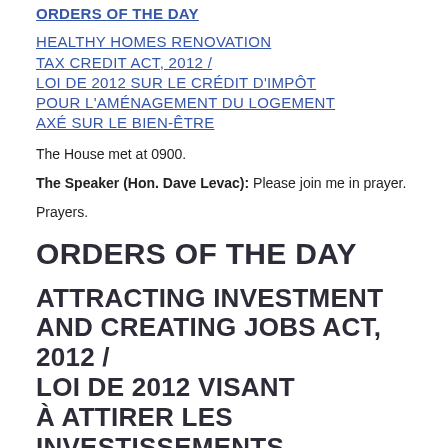ORDERS OF THE DAY
HEALTHY HOMES RENOVATION TAX CREDIT ACT, 2012 / LOI DE 2012 SUR LE CRÉDIT D'IMPÔT POUR L'AMÉNAGEMENT DU LOGEMENT AXÉ SUR LE BIEN-ÊTRE
The House met at 0900.
The Speaker (Hon. Dave Levac): Please join me in prayer.
Prayers.
ORDERS OF THE DAY
ATTRACTING INVESTMENT AND CREATING JOBS ACT, 2012 / LOI DE 2012 VISANT À ATTIRER LES INVESTISSEMENTS ET À CRÉER DES EMPLOIS